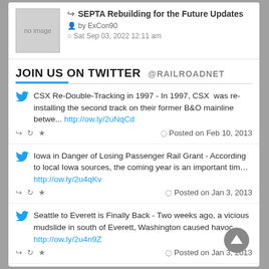[Figure (other): No image placeholder box]
SEPTA Rebuilding for the Future Updates
by ExCon90
Sat Sep 03, 2022 12:11 am
JOIN US ON TWITTER @RAILROADNET
CSX Re-Double-Tracking in 1997 - In 1997, CSX was re-installing the second track on their former B&O mainline betwe... http://ow.ly/2uNqCd
Posted on Feb 10, 2013
Iowa in Danger of Losing Passenger Rail Grant - According to local Iowa sources, the coming year is an important tim... http://ow.ly/2u4qKv
Posted on Jan 3, 2013
Seattle to Everett is Finally Back - Two weeks ago, a vicious mudslide in south of Everett, Washington caused havoc ... http://ow.ly/2u4n9Z
Posted on Jan 3, 2013
FAVORITES